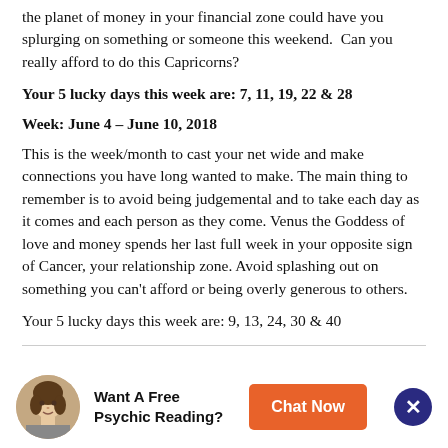the planet of money in your financial zone could have you splurging on something or someone this weekend.  Can you really afford to do this Capricorns?
Your 5 lucky days this week are: 7, 11, 19, 22 & 28
Week: June 4 – June 10, 2018
This is the week/month to cast your net wide and make connections you have long wanted to make. The main thing to remember is to avoid being judgemental and to take each day as it comes and each person as they come. Venus the Goddess of love and money spends her last full week in your opposite sign of Cancer, your relationship zone. Avoid splashing out on something you can't afford or being overly generous to others.
Your 5 lucky days this week are: 9, 13, 24, 30 & 40
[Figure (other): Advertisement banner with circular photo of a woman, text 'Want A Free Psychic Reading?', an orange 'Chat Now' button, and a dark blue close button with X.]